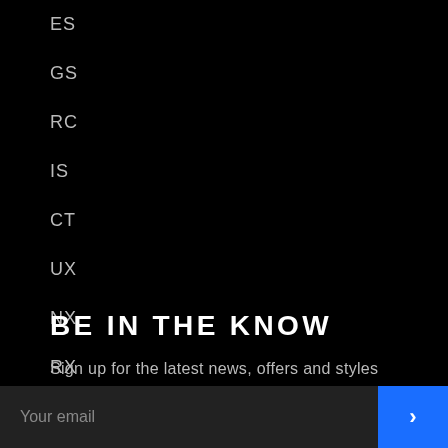ES
GS
RC
IS
CT
UX
NX
RX
LX
MERCH
BE IN THE KNOW
Sign up for the latest news, offers and styles